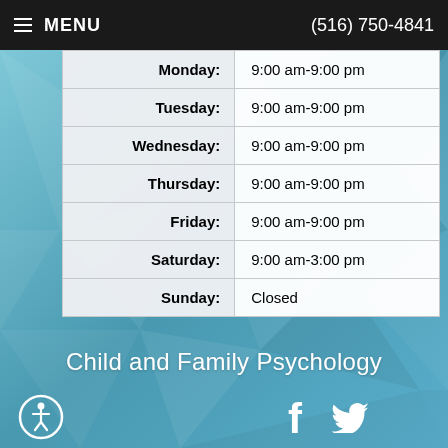MENU   (516) 750-4841
| Day | Hours |
| --- | --- |
| Monday: | 9:00 am-9:00 pm |
| Tuesday: | 9:00 am-9:00 pm |
| Wednesday: | 9:00 am-9:00 pm |
| Thursday: | 9:00 am-9:00 pm |
| Friday: | 9:00 am-9:00 pm |
| Saturday: | 9:00 am-3:00 pm |
| Sunday: | Closed |
Child and Family Psychology
[Figure (illustration): Accessibility icon (person in circle), Facebook icon, Twitter bird icon]